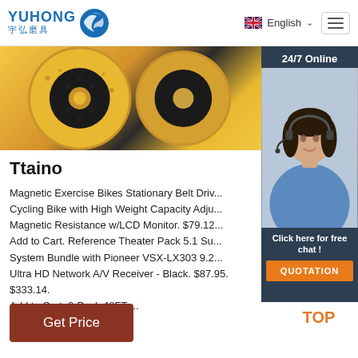YUHONG 宇弘磨具 | English
[Figure (photo): Close-up photo of grinding/cutting discs with yellow and black abrasive surfaces]
[Figure (photo): 24/7 Online customer service representative woman with headset, with Click here for free chat and QUOTATION button overlay]
Ttaino
Magnetic Exercise Bikes Stationary Belt Drive Cycling Bike with High Weight Capacity Adjustable Magnetic Resistance w/LCD Monitor. $79.12. Add to Cart. Reference Theater Pack 5.1 Surround System Bundle with Pioneer VSX-LX303 9.2-Channel Ultra HD Network A/V Receiver - Black. $87.95. $333.14. Add to Cart. 2-Pack 48FT ...
Get Price